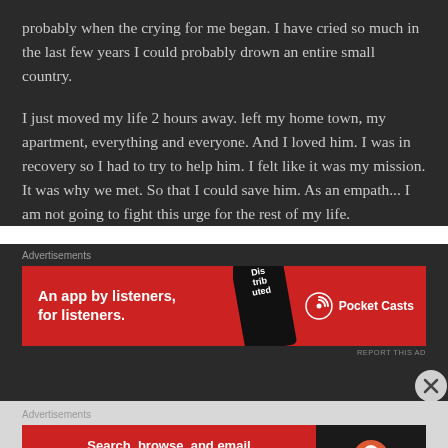probably when the crying for me began. I have cried so much in the last few years I could probably drown an entire small country.
I just moved my life 2 hours away. left my home town, my apartment, everything and everyone. And I loved him. I was in recovery so I had to try to help him. I felt like it was my mission. It was why we met. So that I could save him. As an empath... I am not going to fight this urge for the rest of my life.
[Figure (infographic): Pocket Casts advertisement banner: red background with text 'An app by listeners, for listeners.' and Pocket Casts logo]
[Figure (infographic): DuckDuckGo advertisement banner: red background with text 'Search, browse, and email with more privacy. All in One Free App' and DuckDuckGo logo on dark background]